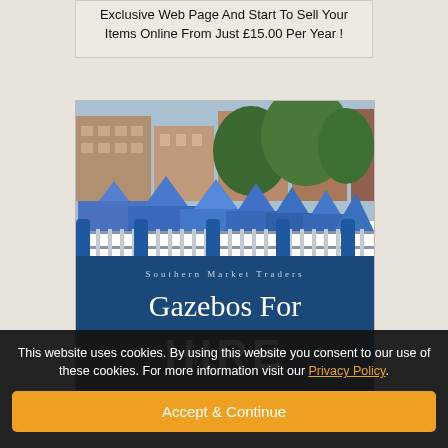Exclusive Web Page And Start To Sell Your Items Online From Just £15.00 Per Year !
[Figure (photo): Photo of outdoor market with blue gazebo tents and fence, overlaid with text 'Southern Market Traders Gazebos For HIRE']
CLICK HERE TO FIND OUT MORE
Them Up And Southern Traders Today
This website uses cookies. By using this website you consent to our use of these cookies. For more information visit our Privacy Policy.
Accept & Continue